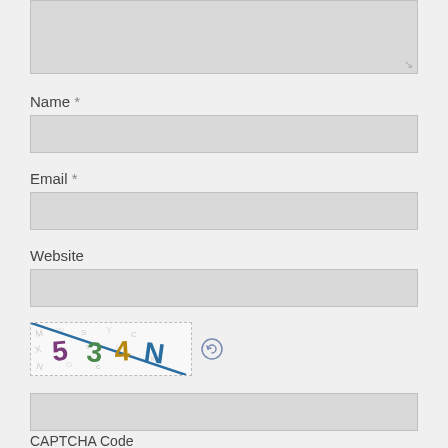[textarea field - top, partially visible]
Name *
[Name input field]
Email *
[Email input field]
Website
[Website input field]
[Figure (screenshot): CAPTCHA image showing characters 5 3 4 N with distorted background text and a diagonal line through it, with a refresh/reload icon to the right]
[CAPTCHA code input field]
CAPTCHA Code